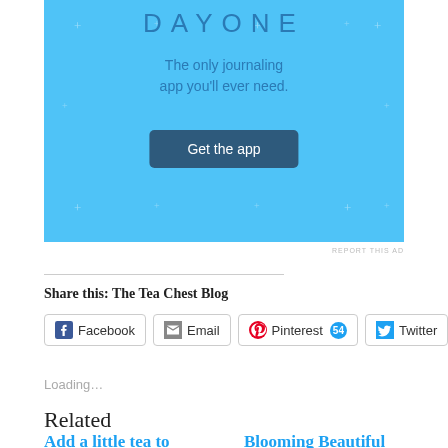[Figure (screenshot): Day One journaling app advertisement. Light blue background with text 'DAY ONE', 'The only journaling app you'll ever need.', and a dark blue 'Get the app' button. Decorative dots scattered in background.]
REPORT THIS AD
Share this: The Tea Chest Blog
Facebook  Email  Pinterest 54  Twitter
Loading...
Related
Add a little tea to
Blooming Beautiful